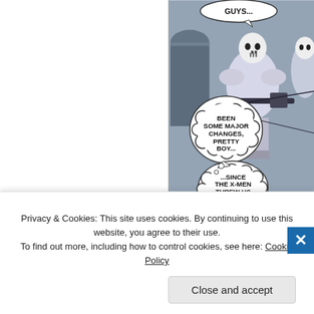[Figure (illustration): Comic book panel showing armored/skeletal villain characters with weapons. Speech bubbles read: 'GUYS...', 'BEEN SOME MAJOR CHANGES, PRETTY BOY...', '...SINCE THE X-MEN THREW US OUT.' Left portion is blank white with a vertical divider.]
Privacy & Cookies: This site uses cookies. By continuing to use this website, you agree to their use.
To find out more, including how to control cookies, see here: Cookie Policy
Close and accept